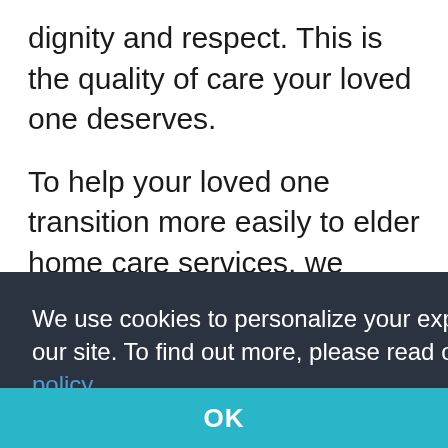dignity and respect. This is the quality of care your loved one deserves.
To help your loved one transition more easily to elder home care services, we invite you to be an active participant in choosing their caregiver. After we have a good understanding of your loved one’s needs, we’ll compile a list of caregivers who have the skills they require. You can meet with each one and choose the
We use cookies to personalize your experience on our site. To find out more, please read our data policy.
OK
your loved one find peace of mind.